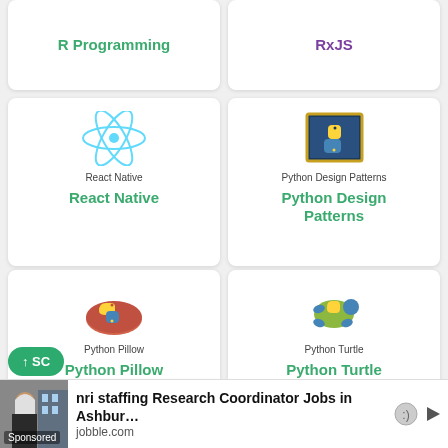[Figure (illustration): Partial card showing R Programming text in green]
R Programming
[Figure (illustration): Partial card showing RxJS text in purple]
RxJS
[Figure (logo): React Native atom logo icon with label React Native]
React Native
[Figure (logo): Python Design Patterns book icon with gold border]
Python Design Patterns
[Figure (logo): Python Pillow icon showing a pillow with Python logo]
Python Pillow
[Figure (logo): Python Turtle icon showing turtle with Python logo]
Python Turtle
[Figure (logo): Partial card showing red K letter logo (Kotlin)]
[Figure (advertisement): Sponsored ad for nri staffing Research Coordinator Jobs in Ashburn from jobble.com]